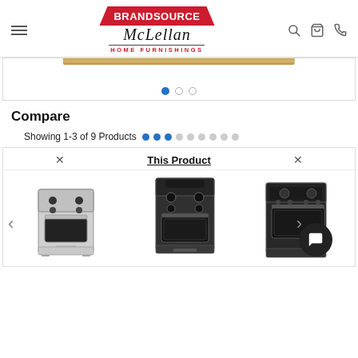[Figure (logo): BrandSource McLellan Home Furnishings logo with red house-shaped banner, script text, and red subtitle]
[Figure (screenshot): Slider carousel area showing a gold/brass colored bar at top and three navigation dots below (one blue, two empty)]
Compare
Showing 1-3 of 9 Products
[Figure (screenshot): Product comparison panel showing three gas ranges/stoves side by side with X close buttons and 'This Product' label on the middle item]